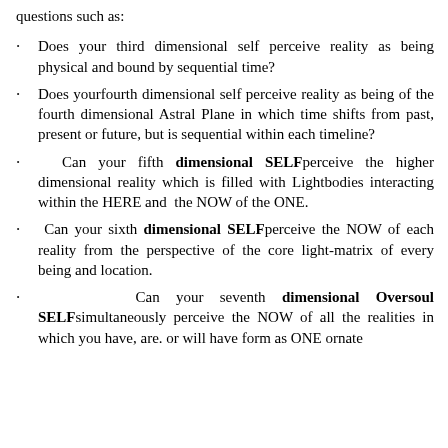questions such as:
Does your third dimensional self perceive reality as being physical and bound by sequential time?
Does yourfourth dimensional self perceive reality as being of the fourth dimensional Astral Plane in which time shifts from past, present or future, but is sequential within each timeline?
Can your fifth dimensional SELF perceive the higher dimensional reality which is filled with Lightbodies interacting within the HERE and the NOW of the ONE.
Can your sixth dimensional SELF perceive the NOW of each reality from the perspective of the core light-matrix of every being and location.
Can your seventh dimensional Oversoul SELF simultaneously perceive the NOW of all the realities in which you have, are. or will have form as ONE ornate